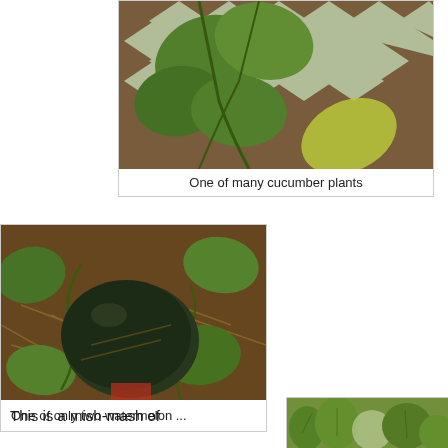[Figure (photo): Photo of a cucumber plant with large green leaves climbing a brown lattice/trellis fence. One yellow-green leaf visible at the bottom right.]
One of many cucumber plants
[Figure (photo): Photo of a small dark green/black watermelon resting on dried brown mulch/straw, surrounded by green watermelon plant vines and leaves.]
One of only two watermelon ...
This is a mish-mash of
[Figure (photo): Partial photo of a garden bed with green leafy plants, appears to be a mix of various plants.]